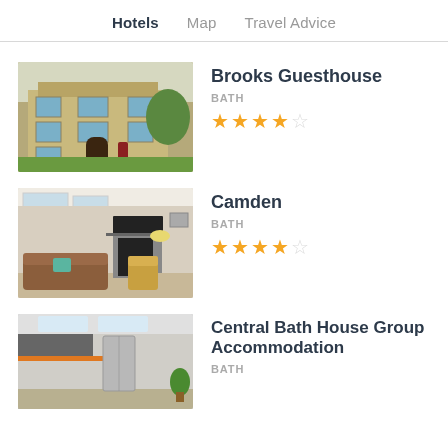Hotels   Map   Travel Advice
[Figure (photo): Exterior of Brooks Guesthouse, a stone building with steps leading to the entrance]
Brooks Guesthouse
BATH
★★★★☆ (4 out of 5 stars)
[Figure (photo): Interior of Camden property, a living room with fireplace, sofa, and armchairs]
Camden
BATH
★★★½☆ (3.5 out of 5 stars)
[Figure (photo): Interior of Central Bath House Group Accommodation showing kitchen/dining area with modern fittings]
Central Bath House Group Accommodation
BATH